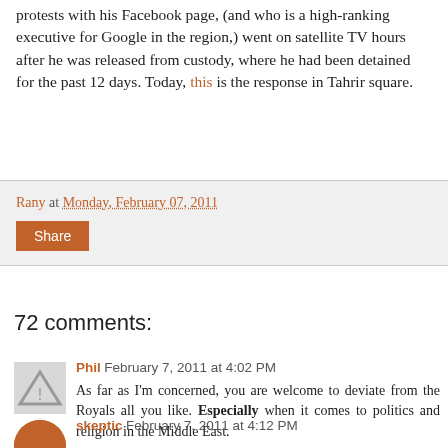protests with his Facebook page, (and who is a high-ranking executive for Google in the region,) went on satellite TV hours after he was released from custody, where he had been detained for the past 12 days. Today, this is the response in Tahrir square.
Rany at Monday, February 07, 2011
Share
72 comments:
Phil February 7, 2011 at 4:02 PM
As far as I'm concerned, you are welcome to deviate from the Royals all you like. Especially when it comes to politics and religion in the Middle East.
Reply
skeptic February 7, 2011 at 4:12 PM